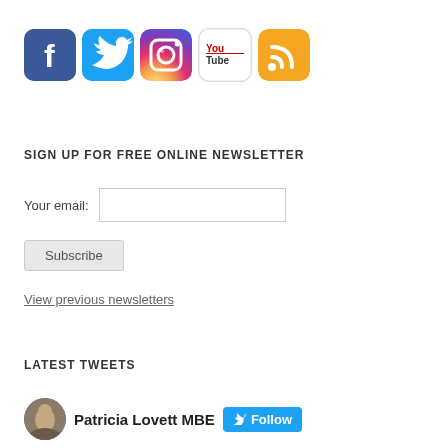[Figure (illustration): Row of five social media icons: Facebook (blue with 'f'), Twitter (blue with bird), Instagram (colorful camera), YouTube (white with 'YouTube' red text), RSS (orange with wifi-like symbol)]
SIGN UP FOR FREE ONLINE NEWSLETTER
Your email:
Subscribe
View previous newsletters
LATEST TWEETS
Patricia Lovett MBE  Follow